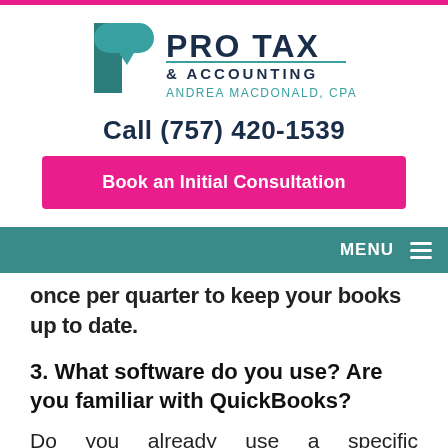[Figure (logo): Pro Tax & Accounting logo with teal P icon and dark navy text. Andrea MacDonald, CPA tagline.]
Call (757) 420-1539
Book an Initial Consultation
MENU
once per quarter to keep your books up to date.
3. What software do you use? Are you familiar with QuickBooks?
Do you already use a specific bookkeeping program? If so, you should